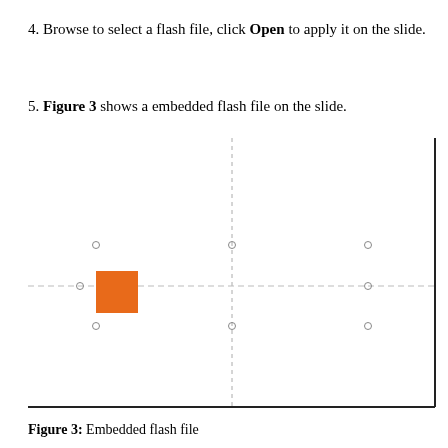4. Browse to select a flash file, click Open to apply it on the slide.
5. Figure 3 shows a embedded flash file on the slide.
[Figure (screenshot): A slide editor view showing a white slide with dashed horizontal crosshair lines and a solid vertical center line, and a solid right/bottom border. An orange square is positioned in the left-center area of the slide, slightly left of center horizontally and at the horizontal crosshair. Small circular handles are visible at grid intersections around the object.]
Figure 3: Embedded flash file